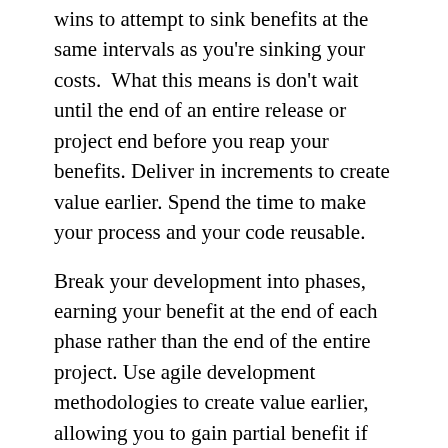wins to attempt to sink benefits at the same intervals as you're sinking your costs.  What this means is don't wait until the end of an entire release or project end before you reap your benefits. Deliver in increments to create value earlier. Spend the time to make your process and your code reusable.
Break your development into phases, earning your benefit at the end of each phase rather than the end of the entire project. Use agile development methodologies to create value earlier, allowing you to gain partial benefit if costs start to overrun. Switch to time-and-materials billing instead of project-based billing. Encourage your team to make their code and processes as reusable as possible.
Investigate your options
Here's where you need to get creative: instead of a go/no-go